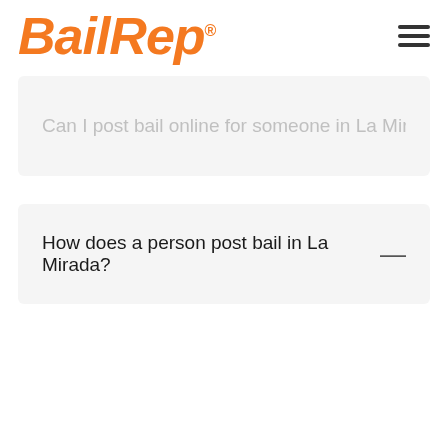BailRep®
Can I post bail online for someone in La Mirada?
How does a person post bail in La Mirada?